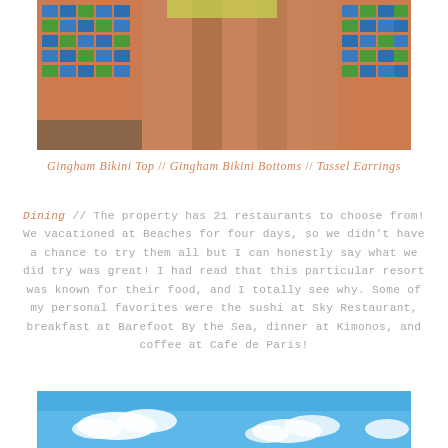[Figure (photo): Cropped photo of a person's legs in a gingham bikini bottom, standing near a tiled mosaic wall with blue and green tiles against an orange/terracotta background.]
Gingham Bikini Top // Gingham Bikini Bottoms // Tassel Earrings
Dining // The property has 21 restaurants to choose from! We vacationed at Beaches for four days, so we didn't have a chance to try them all but I can honestly say what we did try was great! I had read that this particular resort was known for their food, and I totally see why. Some of my personal favorites were the sushi at Sky Restaurant, breakfast at Barefoot By the Sea, dinner at Kimonos, and coffee at Cafe de Paris!
[Figure (photo): Bottom portion of a photo showing a bright blue sky with white clouds.]